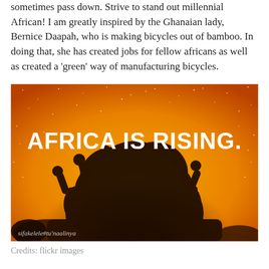sometimes pass down. Strive to stand out millennial African! I am greatly inspired by the Ghanaian lady, Bernice Daapah, who is making bicycles out of bamboo. In doing that, she has created jobs for fellow africans as well as created a 'green' way of manufacturing bicycles.
[Figure (illustration): Motivational image with orange/yellow gradient background with sparkles/stars, showing silhouettes of people with raised arms forming a crowd/tree shape. Bold white text reads 'AFRICA IS RISING.' Watermark text at bottom left: sifakelele#tu'naalinya]
Credits: flickr images